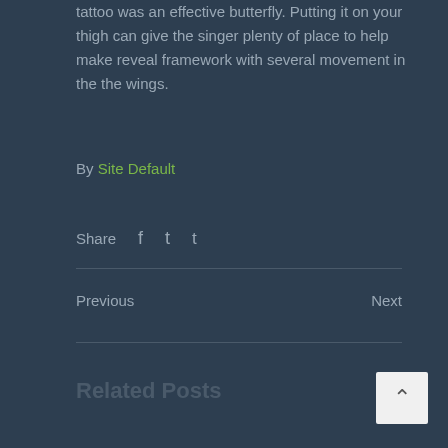tattoo was an effective butterfly. Putting it on your thigh can give the singer plenty of place to help make reveal framework with several movement in the the wings.
By Site Default
Share
Previous
Next
Related Posts